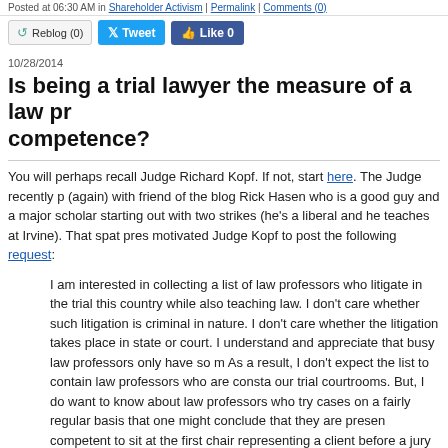Posted at 06:30 AM in Shareholder Activism | Permalink | Comments (0)
[Figure (screenshot): Social sharing buttons: Reblog (0), Tweet, Like 0]
10/28/2014
Is being a trial lawyer the measure of a law professor's competence?
You will perhaps recall Judge Richard Kopf. If not, start here. The Judge recently (again) with friend of the blog Rick Hasen who is a good guy and a major scholar starting out with two strikes (he's a liberal and he teaches at Irvine). That spat motivated Judge Kopf to post the following request:
I am interested in collecting a list of law professors who litigate in the trial courts of this country while also teaching law. I don't care whether such litigation is criminal in nature. I don't care whether the litigation takes place in state or federal court. I understand and appreciate that busy law professors only have so much time. As a result, I don't expect the list to contain law professors who are constantly in our trial courtrooms. But, I do want to know about law professors who try cases on a fairly regular basis that one might conclude that they are presently competent to sit at the first chair representing a client before a jury or a trial...
Please, please, please, no snark. I honestly have no interest in picking a fight. On the contrary, I am sincerely hoping to recognize and praise law professors who practice in the many trial courtrooms of our nation while also regularly teaching law.
Without intending to be snarky in any way, I wonder why Judge Kopf is singling...